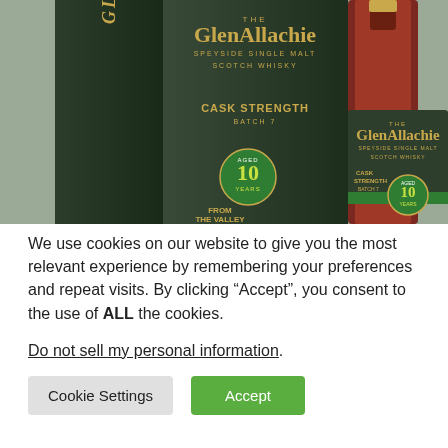[Figure (photo): GlenAllachie 10 Year Old Cask Strength Batch 7 Speyside Single Malt Scotch Whisky bottle alongside its dark green gift box, showing gold lettering and green aged 10 years medallion badge]
We use cookies on our website to give you the most relevant experience by remembering your preferences and repeat visits. By clicking “Accept”, you consent to the use of ALL the cookies.
Do not sell my personal information.
Cookie Settings
Accept